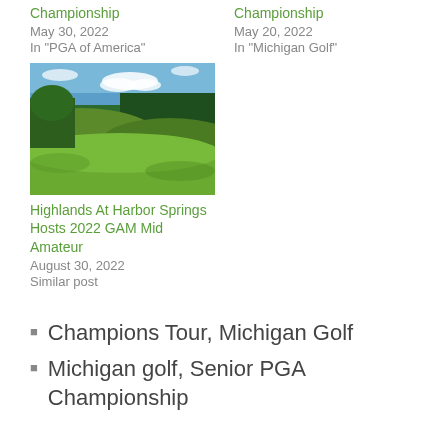Championship
May 30, 2022
In "PGA of America"
Championship
May 20, 2022
In "Michigan Golf"
[Figure (photo): Scenic golf course landscape with trees and rolling green hills under a blue sky with clouds]
Highlands At Harbor Springs Hosts 2022 GAM Mid Amateur
August 30, 2022
Similar post
Champions Tour, Michigan Golf
Michigan golf, Senior PGA Championship